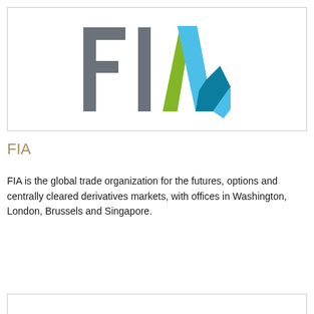[Figure (logo): FIA logo: large grey block letters 'FI' followed by a stylized 'A' composed of green, light blue, and dark teal geometric shapes forming a triangular arrow design]
FIA
FIA is the global trade organization for the futures, options and centrally cleared derivatives markets, with offices in Washington, London, Brussels and Singapore.